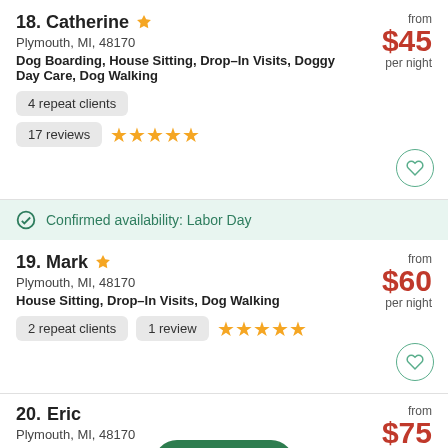18. Catherine — Plymouth, MI, 48170 — Dog Boarding, House Sitting, Drop-In Visits, Doggy Day Care, Dog Walking — from $45 per night — 4 repeat clients — 17 reviews — 5 stars
Confirmed availability: Labor Day
19. Mark — Plymouth, MI, 48170 — House Sitting, Drop-In Visits, Dog Walking — from $60 per night — 2 repeat clients — 1 review — 5 stars
20. Eric — Plymouth, MI, 48170 — Dog Boarding, House Sitting, Drop-In Visits, — from $75 per night